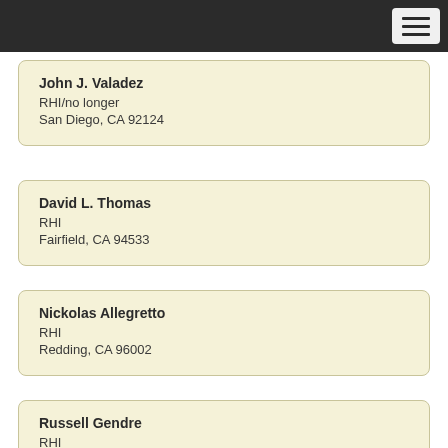John J. Valadez
RHI/no longer
San Diego, CA 92124
David L. Thomas
RHI
Fairfield, CA 94533
Nickolas Allegretto
RHI
Redding, CA 96002
Russell Gendre
RHI